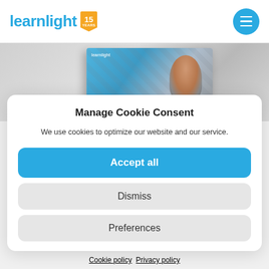learnlight 15 YEARS
[Figure (photo): Partial view of a learnlight brochure/booklet with geometric pattern background and a person visible, shown in the background behind the cookie consent modal.]
Manage Cookie Consent
We use cookies to optimize our website and our service.
Accept all
Dismiss
Preferences
Cookie policy  Privacy policy